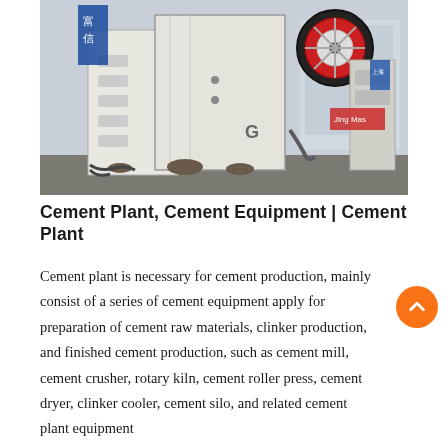[Figure (photo): Industrial jaw crusher machines in white and red color, photographed in a factory yard setting. Large flywheel visible on top right. Multiple units in a row.]
Cement Plant, Cement Equipment | Cement Plant
Cement plant is necessary for cement production, mainly consist of a series of cement equipment apply for preparation of cement raw materials, clinker production, and finished cement production, such as cement mill, cement crusher, rotary kiln, cement roller press, cement dryer, clinker cooler, cement silo, and related cement plant equipment